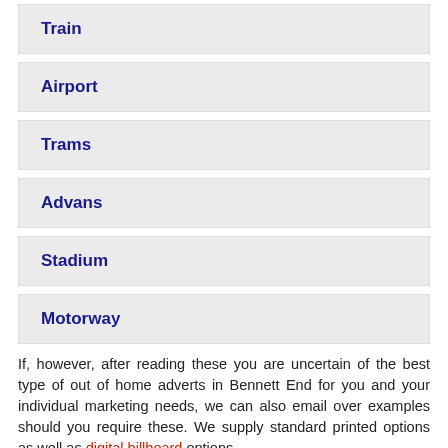Train
Airport
Trams
Advans
Stadium
Motorway
If, however, after reading these you are uncertain of the best type of out of home adverts in Bennett End for you and your individual marketing needs, we can also email over examples should you require these. We supply standard printed options as well as digital billboard options.
Don't forget that all the quotes we supply are FREE and we strive